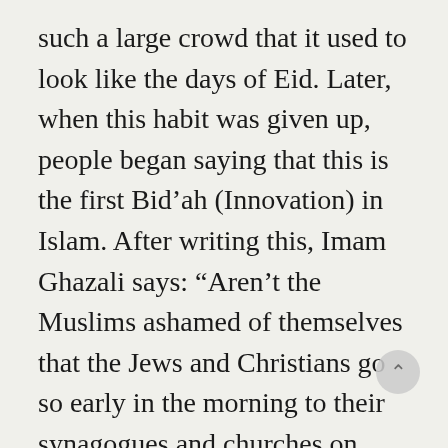such a large crowd that it used to look like the days of Eid. Later, when this habit was given up, people began saying that this is the first Bid’ah (Innovation) in Islam. After writing this, Imam Ghazali says: “Aren’t the Muslims ashamed of themselves that the Jews and Christians go so early in the morning to their synagogues and churches on Saturdays and Sundays. Those who are businessmen go so early to the markets in order to do their